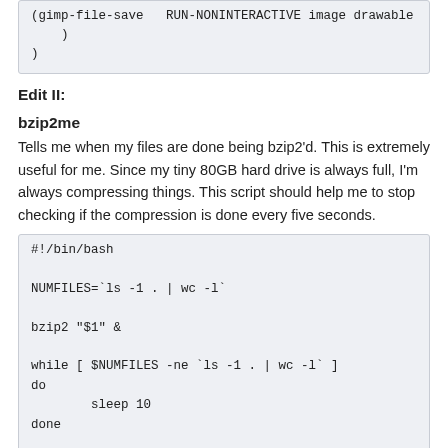(gimp-file-save   RUN-NONINTERACTIVE image drawable
    )
)
Edit II:
bzip2me
Tells me when my files are done being bzip2'd. This is extremely useful for me. Since my tiny 80GB hard drive is always full, I'm always compressing things. This script should help me to stop checking if the compression is done every five seconds.
#!/bin/bash

NUMFILES=`ls -1 . | wc -l`

bzip2 "$1" &

while [ $NUMFILES -ne `ls -1 . | wc -l` ]
do
        sleep 10
done

zenity --info --text "Done bzipping \"$1\"."